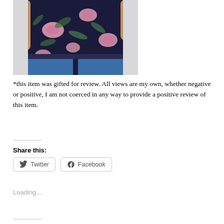[Figure (photo): Photo of a person wearing a dark navy floral print top with pink tropical flowers and blue jeans, cropped to show torso only]
*this item was gifted for review. All views are my own, whether negative or positive, I am not coerced in any way to provide a positive review of this item.
Share this:
Twitter
Facebook
Loading...